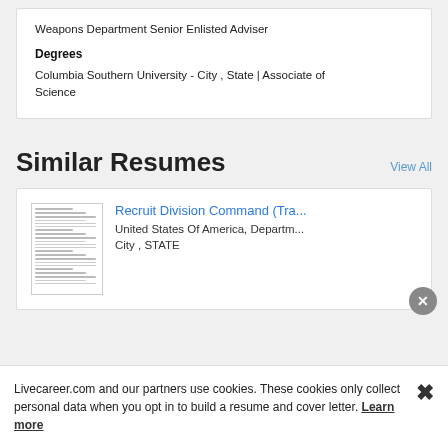Weapons Department Senior Enlisted Adviser
Degrees
Columbia Southern University - City , State | Associate of Science
Similar Resumes
View All
[Figure (other): Thumbnail image of a resume document]
Recruit Division Command (Tra...
United States Of America, Departm...
City , STATE
Livecareer.com and our partners use cookies. These cookies only collect personal data when you opt in to build a resume and cover letter. Learn more